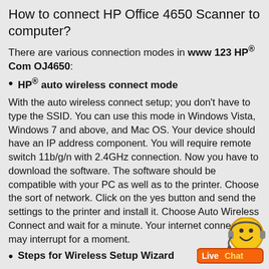How to connect HP Office 4650 Scanner to computer?
There are various connection modes in www 123 HP® Com OJ4650:
HP® auto wireless connect mode
With the auto wireless connect setup; you don't have to type the SSID. You can use this mode in Windows Vista, Windows 7 and above, and Mac OS. Your device should have an IP address component. You will require remote switch 11b/g/n with 2.4GHz connection. Now you have to download the software. The software should be compatible with your PC as well as to the printer. Choose the sort of network. Click on the yes button and send the settings to the printer and install it. Choose Auto Wireless Connect and wait for a minute. Your internet connection may interrupt for a moment.
Steps for Wireless Setup Wizard
Download the HP® Printer software 4650 on your device and ensure that it is compatible with both devices. Then you to choose the sort of network.
Hit Yes on submit my wireless settings to install my pr
Check the SSID and WEP password
Go the setup button from the control panel and choose the
[Figure (logo): LiveChat widget with smiley face mascot and orange LiveChat badge]